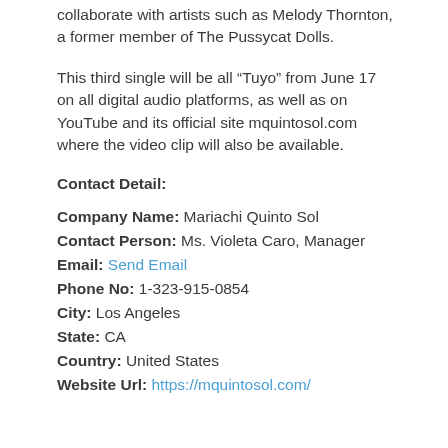collaborate with artists such as Melody Thornton, a former member of The Pussycat Dolls.
This third single will be all “Tuyo” from June 17 on all digital audio platforms, as well as on YouTube and its official site mquintosol.com where the video clip will also be available.
Contact Detail:
Company Name: Mariachi Quinto Sol
Contact Person: Ms. Violeta Caro, Manager
Email: Send Email
Phone No: 1-323-915-0854
City: Los Angeles
State: CA
Country: United States
Website Url: https://mquintosol.com/